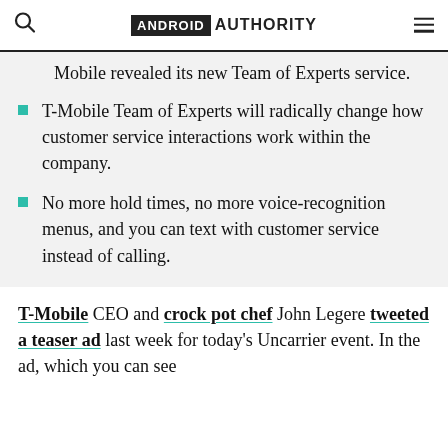ANDROID AUTHORITY
Mobile revealed its new Team of Experts service.
T-Mobile Team of Experts will radically change how customer service interactions work within the company.
No more hold times, no more voice-recognition menus, and you can text with customer service instead of calling.
T-Mobile CEO and crock pot chef John Legere tweeted a teaser ad last week for today's Uncarrier event. In the ad, which you can see